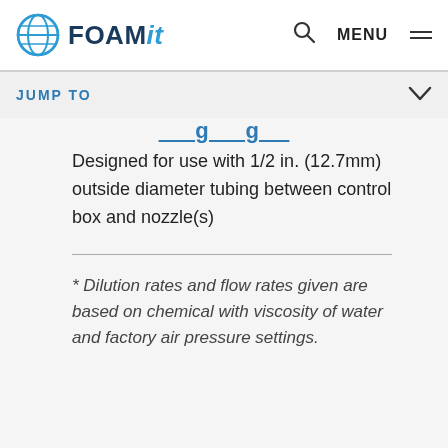FOAMit
JUMP TO
Designed for use with 1/2 in. (12.7mm) outside diameter tubing between control box and nozzle(s)
* Dilution rates and flow rates given are based on chemical with viscosity of water and factory air pressure settings.